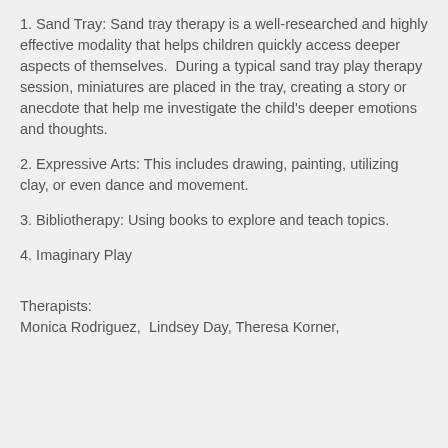1. Sand Tray: Sand tray therapy is a well-researched and highly effective modality that helps children quickly access deeper aspects of themselves.  During a typical sand tray play therapy session, miniatures are placed in the tray, creating a story or anecdote that help me investigate the child's deeper emotions and thoughts.
2. Expressive Arts: This includes drawing, painting, utilizing clay, or even dance and movement.
3. Bibliotherapy: Using books to explore and teach topics.
4. Imaginary Play
Therapists:
Monica Rodriguez,  Lindsey Day, Theresa Korner,